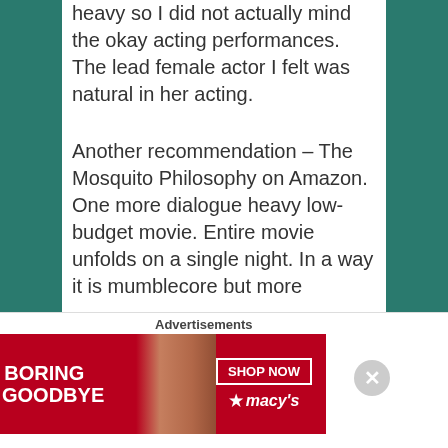heavy so I did not actually mind the okay acting performances. The lead female actor I felt was natural in her acting.

Another recommendation – The Mosquito Philosophy on Amazon. One more dialogue heavy low-budget movie. Entire movie unfolds on a single night. In a way it is mumblecore but more
Advertisements
[Figure (photo): Advertisement banner for Macy's lipstick product. Red background with woman's face showing red lips. Text reads: KISS BORING LIPS GOODBYE. SHOP NOW. Macy's logo with star.]